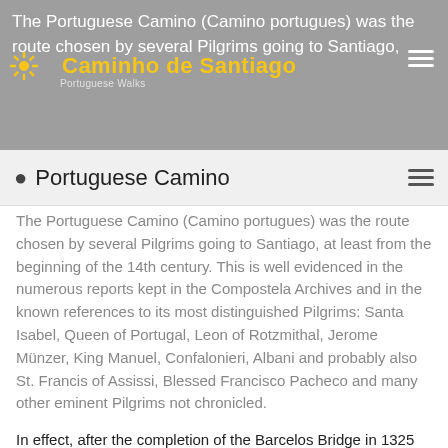The Portuguese Camino (Camino portugues) was the route chosen by several Pilgrims going to Santiago,
Caminho de Santiago
Portuguese Camino
The Portuguese Camino (Camino portugues) was the route chosen by several Pilgrims going to Santiago, at least from the beginning of the 14th century. This is well evidenced in the numerous reports kept in the Compostela Archives and in the known references to its most distinguished Pilgrims: Santa Isabel, Queen of Portugal, Leon of Rotzmithal, Jerome Münzer, King Manuel, Confalonieri, Albani and probably also St. Francis of Assissi, Blessed Francisco Pacheco and many other eminent Pilgrims not chronicled.
In effect, after the completion of the Barcelos Bridge in 1325 and the renovations to the one at Ponte de Lima at the same time, it was possible to follow a straight route.